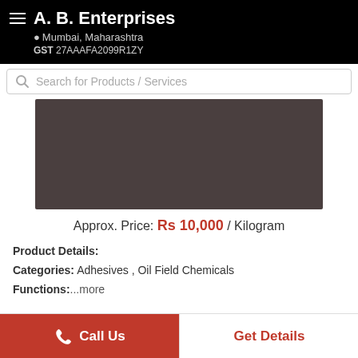A. B. Enterprises | Mumbai, Maharashtra | GST 27AAAFA2099R1ZY
Search for Products / Services
[Figure (photo): Dark brownish-grey product image placeholder]
Approx. Price: Rs 10,000 / Kilogram
Product Details:
Categories: Adhesives , Oil Field Chemicals
Functions: ...more
Call Us
Get Details